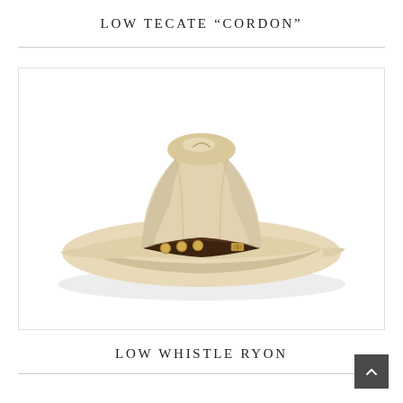LOW TECATE “CORDON”
[Figure (photo): A light beige/cream colored western cowboy hat with a dark brown leather band adorned with gold-colored coin or concho decorations and a small buckle. The hat has a classic low crown and wide brim style.]
LOW WHISTLE RYON